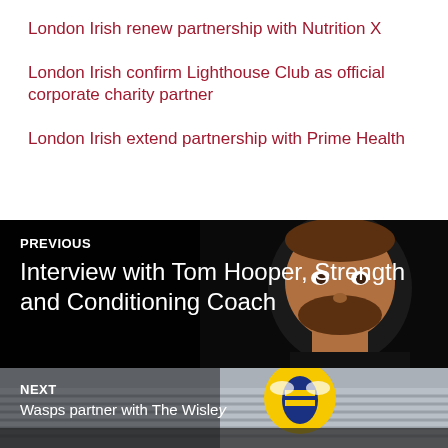London Irish renew partnership with Nutrition X
London Irish confirm Lighthouse Club as official corporate charity partner
London Irish extend partnership with Prime Health
[Figure (photo): Navigation block showing previous article: Interview with Tom Hooper, Strength and Conditioning Coach — dark image of a man's face against black background]
[Figure (photo): Navigation block showing next article: Wasps partnership with The Wisley — partial image of a stadium with a Wasps logo (yellow bee on dark background)]